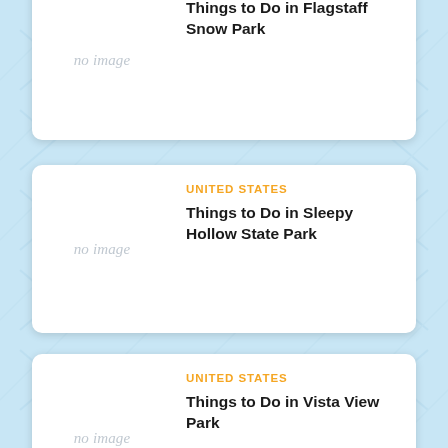[Figure (screenshot): Travel listing card (partially visible at top) showing 'Things to Do in Flagstaff Snow Park' with no image placeholder]
Things to Do in Flagstaff Snow Park
[Figure (screenshot): Travel listing card showing 'Things to Do in Sleepy Hollow State Park' under UNITED STATES category with no image placeholder]
UNITED STATES
Things to Do in Sleepy Hollow State Park
[Figure (screenshot): Travel listing card showing 'Things to Do in Vista View Park' under UNITED STATES category with no image placeholder]
UNITED STATES
Things to Do in Vista View Park